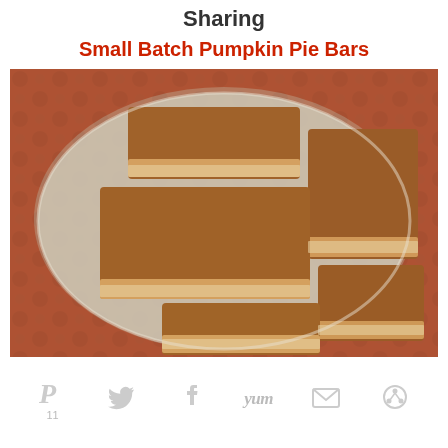Sharing
Small Batch Pumpkin Pie Bars
[Figure (photo): Photograph of small batch pumpkin pie bars sliced and arranged on a decorative plate. The bars show a pale shortbread crust bottom and a golden-brown pumpkin filling on top.]
P 11  [Twitter icon]  [Facebook icon]  Yum  [Email icon]  [Share icon]